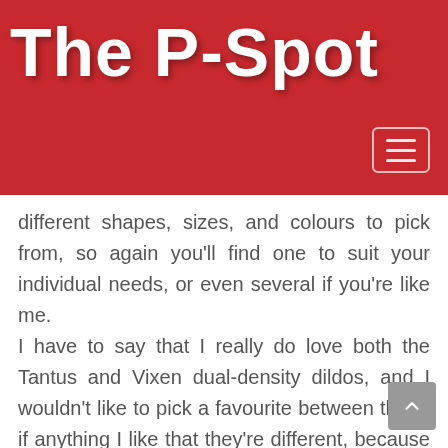The P-Spot
different shapes, sizes, and colours to pick from, so again you'll find one to suit your individual needs, or even several if you're like me.
I have to say that I really do love both the Tantus and Vixen dual-density dildos, and I wouldn't like to pick a favourite between them, if anything I like that they're different, because each will suit divergent tastes. I hope now it's clearer why I'm so convinced that dual-density dildos are amongst some of the best sex toys available today, and I also hope that it'll make picking the one that's right for you a little easier.